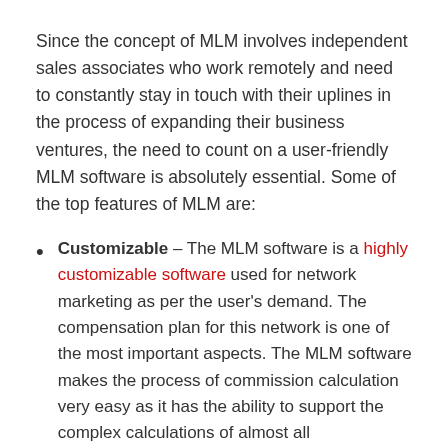Since the concept of MLM involves independent sales associates who work remotely and need to constantly stay in touch with their uplines in the process of expanding their business ventures, the need to count on a user-friendly MLM software is absolutely essential. Some of the top features of MLM are:
Customizable – The MLM software is a highly customizable software used for network marketing as per the user's demand. The compensation plan for this network is one of the most important aspects. The MLM software makes the process of commission calculation very easy as it has the ability to support the complex calculations of almost all compensation plans. It can be customized to different compensation plans like Binary Plan